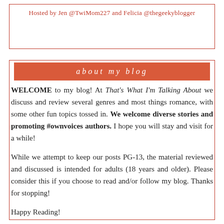Hosted by Jen @TwiMom227 and Felicia @thegeekyblogger
about my blog
WELCOME to my blog! At That's What I'm Talking About we discuss and review several genres and most things romance, with some other fun topics tossed in. We welcome diverse stories and promoting #ownvoices authors. I hope you will stay and visit for a while!
While we attempt to keep our posts PG-13, the material reviewed and discussed is intended for adults (18 years and older). Please consider this if you choose to read and/or follow my blog. Thanks for stopping!
Happy Reading!